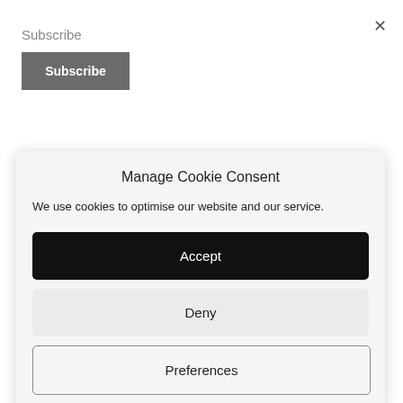Subscribe
Subscribe
[Figure (photo): Blue sky background with illuminated clock tower (Big Ben) at top right corner, with large white bold text overlay partially visible at bottom]
Manage Cookie Consent
We use cookies to optimise our website and our service.
Accept
Deny
Preferences